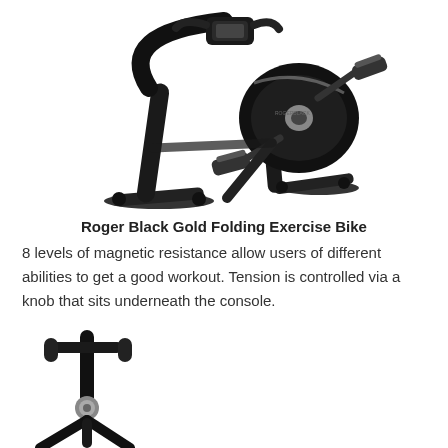[Figure (photo): Roger Black Gold Folding Exercise Bike shown at an angle from above-right, black metal frame, pedals with straps, flywheel visible, on white background]
Roger Black Gold Folding Exercise Bike
8 levels of magnetic resistance allow users of different abilities to get a good workout. Tension is controlled via a knob that sits underneath the console.
[Figure (photo): Partial view of another exercise bike, black frame, shown from the left side, cropped at bottom of page]